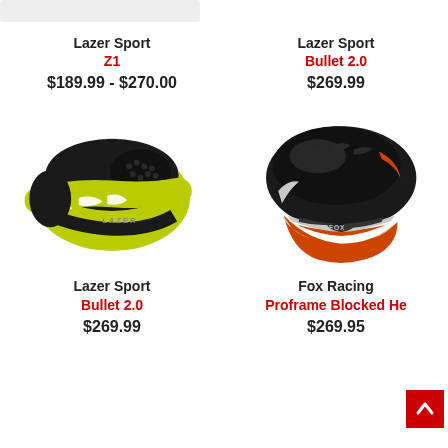[Figure (screenshot): E-commerce product listing page showing bicycle helmets in a 2-column grid layout]
Lazer Sport Z1
$189.99 - $270.00
Lazer Sport Bullet 2.0
$269.99
[Figure (photo): Lazer Sport Bullet 2.0 bicycle helmet in yellow-green and black color]
[Figure (photo): Fox Racing Proframe Blocked helmet in black, orange and white color]
Lazer Sport Bullet 2.0
$269.99
Fox Racing Proframe Blocked He...
$269.95